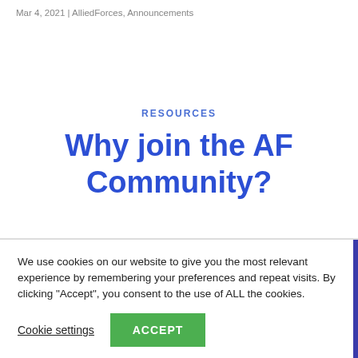Mar 4, 2021 | AlliedForces, Announcements
RESOURCES
Why join the AF Community?
We use cookies on our website to give you the most relevant experience by remembering your preferences and repeat visits. By clicking “Accept”, you consent to the use of ALL the cookies.